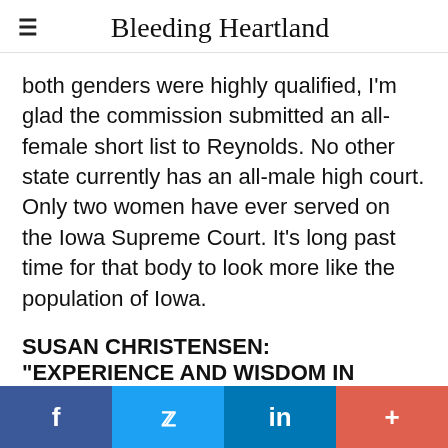Bleeding Heartland
both genders were highly qualified, I'm glad the commission submitted an all-female short list to Reynolds. No other state currently has an all-male high court. Only two women have ever served on the Iowa Supreme Court. It's long past time for that body to look more like the population of Iowa.
SUSAN CHRISTENSEN: "EXPERIENCE AND WISDOM IN OTHER AREAS OF LIFE"